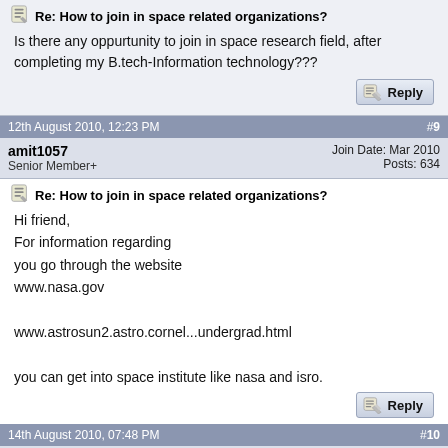Re: How to join in space related organizations?
Is there any oppurtunity to join in space research field, after completing my B.tech-Information technology???
12th August 2010, 12:23 PM  #9
amit1057
Senior Member+
Join Date: Mar 2010
Posts: 634
Re: How to join in space related organizations?
Hi friend,
For information regarding
you go through the website
www.nasa.gov

www.astrosun2.astro.cornel...undergrad.html

you can get into space institute like nasa and isro.
14th August 2010, 07:48 PM  #10
Unregistered
Guest
Posts: n/a
Re: How to join in space related organizations?